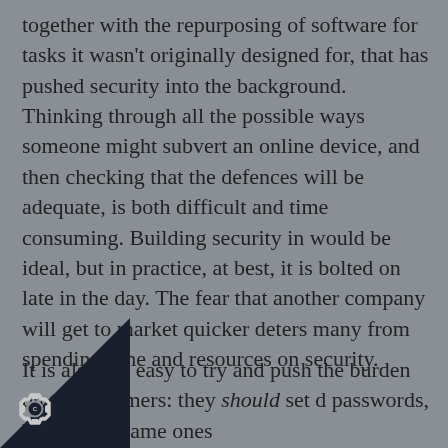together with the repurposing of software for tasks it wasn't originally designed for, that has pushed security into the background. Thinking through all the possible ways someone might subvert an online device, and then checking that the defences will be adequate, is both difficult and time consuming. Building security in would be ideal, but in practice, at best, it is bolted on late in the day. The fear that another company will get to market quicker deters many from spending time and resources on security.
It is also too easy to try and push the burden on to consumers: they should set d passwords, but not the same ones